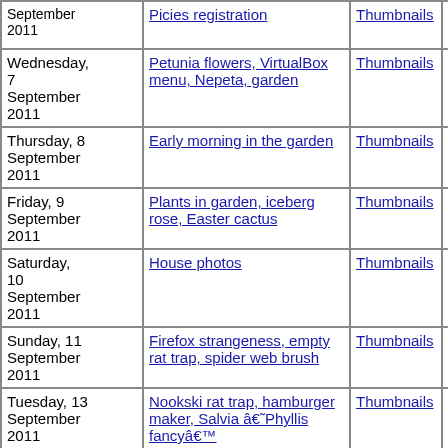| Date | Description | Thumbnails | Small photos | diary |
| --- | --- | --- | --- | --- |
| September 2011 | Picies registration | Thumbnails | Small photos | diary |
| Wednesday, 7 September 2011 | Petunia flowers, VirtualBox menu, Nepeta, garden | Thumbnails | Small photos | diary |
| Thursday, 8 September 2011 | Early morning in the garden | Thumbnails | Small photos | diary |
| Friday, 9 September 2011 | Plants in garden, iceberg rose, Easter cactus | Thumbnails | Small photos | diary |
| Saturday, 10 September 2011 | House photos | Thumbnails | Small photos | diary |
| Sunday, 11 September 2011 | Firefox strangeness, empty rat trap, spider web brush | Thumbnails | Small photos | diary |
| Tuesday, 13 September 2011 | Nookski rat trap, hamburger maker, Salvia â€˜Phyllis fancyâ€™ | Thumbnails | Small photos | diary |